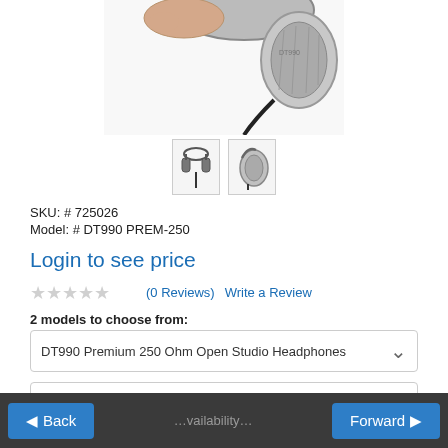[Figure (photo): Product photo of Beyerdynamic DT990 Premium headphones shown from top angle, silver and black, partially cropped at top. Two thumbnail images below: front view and side view of headphones.]
SKU: # 725026
Model: # DT990 PREM-250
Login to see price
☆☆☆☆☆ (0 Reviews)  Write a Review
2 models to choose from:
DT990 Premium 250 Ohm Open Studio Headphones
Online
◀ Back   …vailability…   Forward ▶